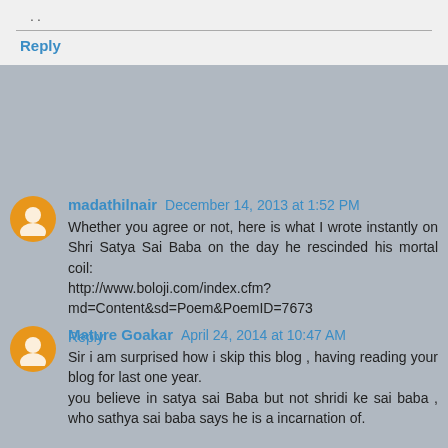..
Reply
madathilnair  December 14, 2013 at 1:52 PM
Whether you agree or not, here is what I wrote instantly on Shri Satya Sai Baba on the day he rescinded his mortal coil:
http://www.boloji.com/index.cfm?md=Content&sd=Poem&PoemID=7673
Reply
Mature Goakar  April 24, 2014 at 10:47 AM
Sir i am surprised how i skip this blog , having reading your blog for last one year.
you believe in satya sai Baba but not shridi ke sai baba , who sathya sai baba says he is a incarnation of.